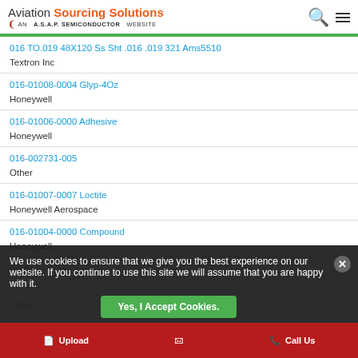Aviation Sourcing Solutions — AN A.S.A.P. SEMICONDUCTOR WEBSITE
016 TO.019 48X120 Ss Sht .016 .019 321 Ams5510
Textron Inc
016-01008-0004 Glyp-4Oz
Honeywell
016-01006-0000 Adhesive
Honeywell
016-002731-005
Other
016-01007-0007 Loctite
Honeywell Aerospace
016-01004-0000 Compound
Honeywell
Barry
016-0021
Other
We use cookies to ensure that we give you the best experience on our website. If you continue to use this site we will assume that you are happy with it.
Yes, I Accept Cookies.